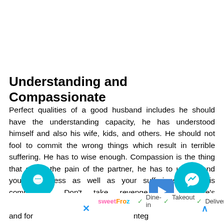Understanding and Compassionate
Perfect qualities of a good husband includes he should have the understanding capacity, he has understood himself and also his wife, kids, and others. He should not fool to commit the wrong things which result in terrible suffering. He has to wise enough. Compassion is the thing that eases the pain of the partner, he has to understand your happiness as well as your sufferings which is compassion. Don't take revenge for his wife's ac... ly and for... nteg... objectives and provide a good kind of injunction...